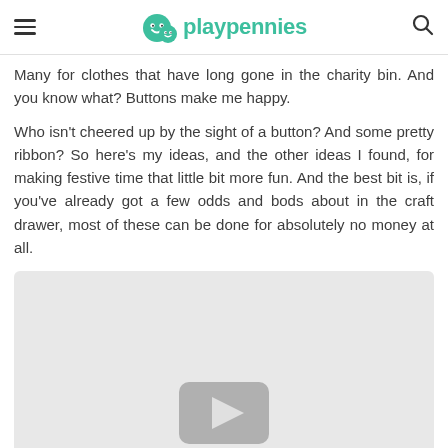playpennies
Many for clothes that have long gone in the charity bin. And you know what? Buttons make me happy.
Who isn't cheered up by the sight of a button? And some pretty ribbon? So here's my ideas, and the other ideas I found, for making festive time that little bit more fun. And the best bit is, if you've already got a few odds and bods about in the craft drawer, most of these can be done for absolutely no money at all.
[Figure (screenshot): Video player placeholder with grey background and a play button icon at the bottom center]